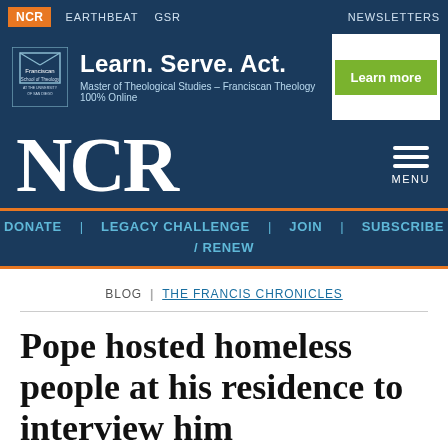NCR  EARTHBEAT  GSR  NEWSLETTERS
[Figure (screenshot): Advertisement banner: Franciscan School of Theology logo, 'Learn. Serve. Act.' headline, 'Master of Theological Studies – Franciscan Theology 100% Online', and a green 'Learn more' button]
NCR  MENU
DONATE  LEGACY CHALLENGE  JOIN  SUBSCRIBE / RENEW
BLOG | THE FRANCIS CHRONICLES
Pope hosted homeless people at his residence to interview him